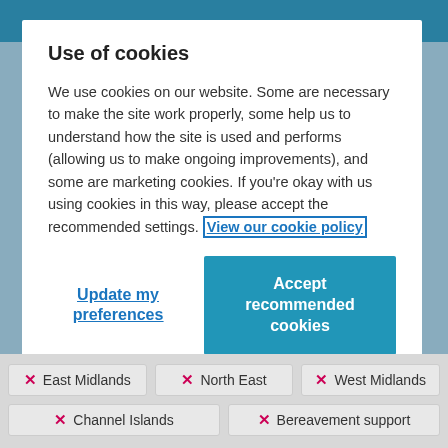Use of cookies
We use cookies on our website. Some are necessary to make the site work properly, some help us to understand how the site is used and performs (allowing us to make ongoing improvements), and some are marketing cookies. If you're okay with us using cookies in this way, please accept the recommended settings. View our cookie policy
Update my preferences
Accept recommended cookies
East Midlands
North East
West Midlands
Channel Islands
Bereavement support